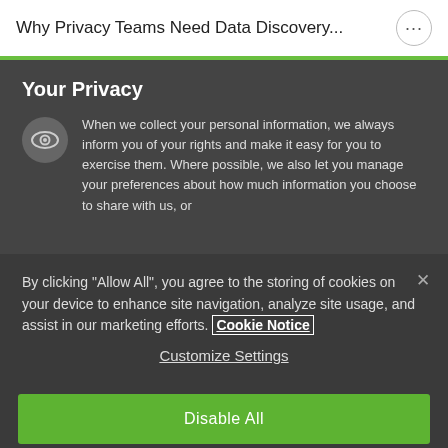Why Privacy Teams Need Data Discovery...
Your Privacy
When we collect your personal information, we always inform you of your rights and make it easy for you to exercise them. Where possible, we also let you manage your preferences about how much information you choose to share with us, or
By clicking “Allow All”, you agree to the storing of cookies on your device to enhance site navigation, analyze site usage, and assist in our marketing efforts. Cookie Notice
Customize Settings
Disable All
Allow All